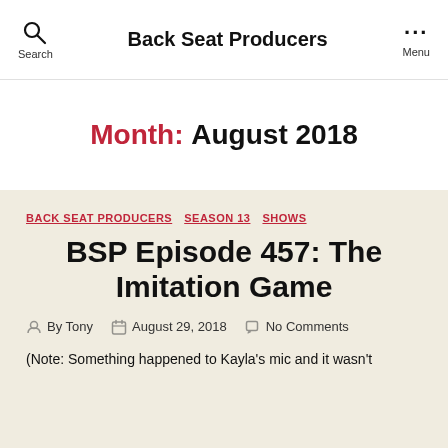Back Seat Producers
Month: August 2018
BACK SEAT PRODUCERS  SEASON 13  SHOWS
BSP Episode 457: The Imitation Game
By Tony  August 29, 2018  No Comments
(Note: Something happened to Kayla's mic and it wasn't